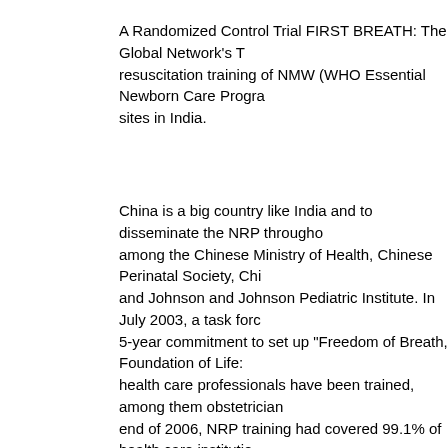A Randomized Control Trial FIRST BREATH: The Global Network's T... resuscitation training of NMW (WHO Essential Newborn Care Progra... sites in India.
China is a big country like India and to disseminate the NRP througho... among the Chinese Ministry of Health, Chinese Perinatal Society, Chi... and Johnson and Johnson Pediatric Institute. In July 2003, a task forc... 5-year commitment to set up "Freedom of Breath, Foundation of Life:... health care professionals have been trained, among them obstetrician... end of 2006, NRP training had covered 99.1% of health care institutio... paper was presented at PAS meeting in Honolulu (USA) to give impac... due to Asphyxia in 10 provinces of China. Similar large scale training... Turkey and many Latin American countries. The NRP has been used... countries besides USA and China.
NRP in India
First International Course on NRP in India was conducted in 1989. Na... of 150 pediatricians and nurses for NRP, who trained 12,000 healthca... years in advanced course of NRP. But there was no follow-up or moni... place which is an essential component of good NRP Program. Since t... However for a country of the size of India with 27 million deliveries pe... have a skilled birth attendants trained for every delivery, more than 0...